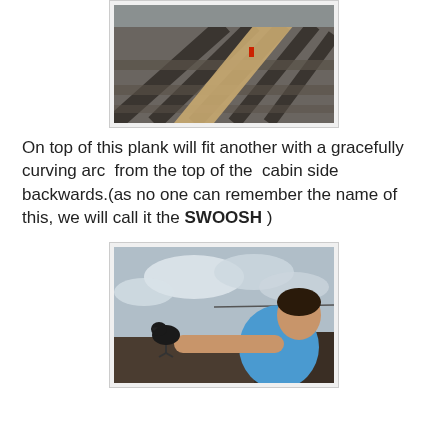[Figure (photo): Overhead view of wooden cabin framing/floor joists with planks being placed across metal beams in a construction setting.]
On top of this plank will fit another with a gracefully curving arc  from the top of the  cabin side backwards.(as no one can remember the name of this, we will call it the SWOOSH )
[Figure (photo): A person in a blue t-shirt with a bird (crow or raven) perched on their outstretched hand/arm, outdoors with cloudy sky in background.]